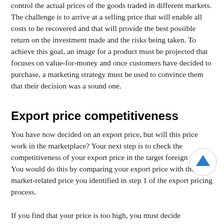control the actual prices of the goods traded in different markets. The challenge is to arrive at a selling price that will enable all costs to be recovered and that will provide the best possible return on the investment made and the risks being taken. To achieve this goal, an image for a product must be projected that focuses on value-for-money and once customers have decided to purchase, a marketing strategy must be used to convince them that their decision was a sound one.
Export price competitiveness
You have now decided on an export price, but will this price work in the marketplace? Your next step is to check the competitiveness of your export price in the target foreign market. You would do this by comparing your export price with the market-related price you identified in step 1 of the export pricing process.
If you find that your price is too high, you must decide